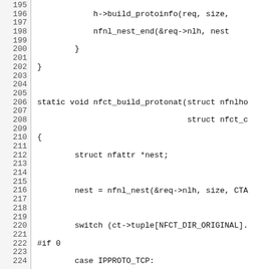[Figure (screenshot): Source code listing showing lines 195-224 of a C function nfct_build_protonat, including struct definitions, switch statement with IPPROTO_TCP and IPPROTO_UDP cases, nfnl_nest and nfnl_addattr_l calls, with #if 0 / #endif preprocessor directives and line numbers in left gutter.]